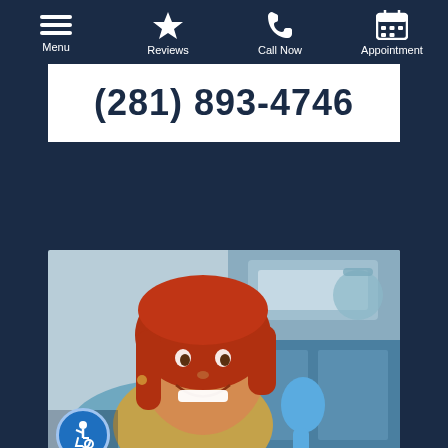Menu | Reviews | Call Now | Appointment
(281) 893-4746
[Figure (photo): Woman with red hair sitting in a dental chair, smiling and holding a tooth-shaped blue mirror in a dental office setting.]